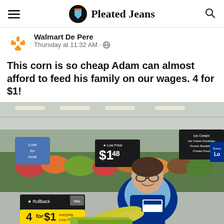Pleated Jeans
Walmart De Pere
Thursday at 11:32 AM
This corn is so cheap Adam can almost afford to feed his family on our wages. 4 for $1!
[Figure (photo): A Walmart employee in a blue vest holding corn on the cob, standing in the produce section of a Walmart store. Signs visible include a Low Price tag showing $1.48 and a Rollback sign showing 4 for $1.]